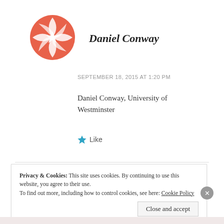[Figure (logo): Red/coral circular decorative avatar with geometric snowflake/star pattern]
Daniel Conway
SEPTEMBER 18, 2015 AT 1:20 PM
Daniel Conway, University of Westminster
Like
Privacy & Cookies: This site uses cookies. By continuing to use this website, you agree to their use.
To find out more, including how to control cookies, see here: Cookie Policy
Close and accept